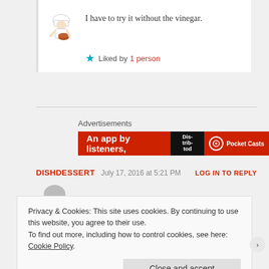I have to try it without the vinegar.
★ Liked by 1 person
Advertisements
[Figure (screenshot): Red advertisement banner reading 'An app by listeners,' with Pocket Casts logo]
DISHDESSERT  July 17, 2016 at 5:21 PM  LOG IN TO REPLY
Privacy & Cookies: This site uses cookies. By continuing to use this website, you agree to their use.
To find out more, including how to control cookies, see here: Cookie Policy
Close and accept